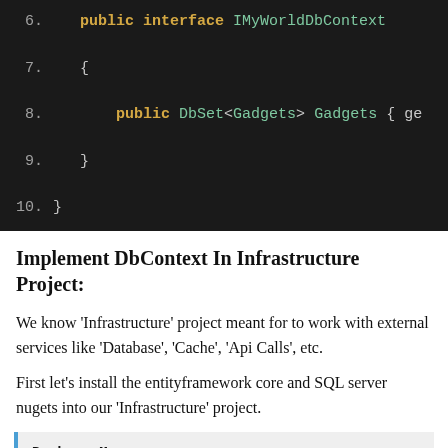[Figure (screenshot): Code editor screenshot showing C# interface definition lines 6-10: public interface IMyWorldDbContext with DbSet<Gadgets> Gadgets property]
Implement DbContext In Infrastructure Project:
We know 'Infrastructure' project meant for to work with external services like 'Database', 'Cache', 'Api Calls', etc.
First let's install the entityframework core and SQL server nugets into our 'Infrastructure' project.
[Figure (screenshot): Package Manager callout box showing: Package Manager: Install-Package Microsoft.EntityFrameworkCore -Version]